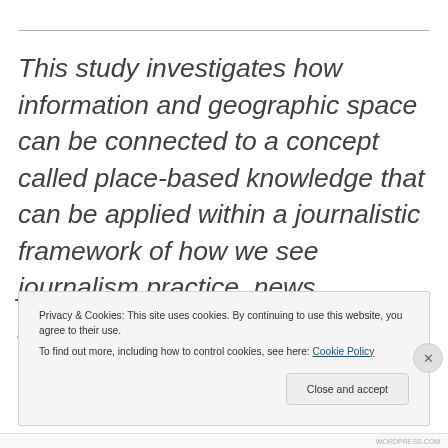This study investigates how information and geographic space can be connected to a concept called place-based knowledge that can be applied within a journalistic framework of how we see journalism practice, news producers, consumers, and
Privacy & Cookies: This site uses cookies. By continuing to use this website, you agree to their use. To find out more, including how to control cookies, see here: Cookie Policy